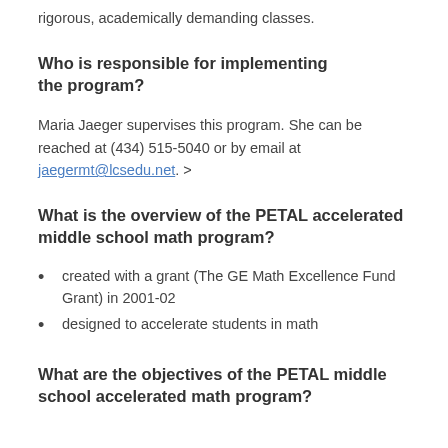rigorous, academically demanding classes.
Who is responsible for implementing the program?
Maria Jaeger supervises this program. She can be reached at (434) 515-5040 or by email at jaegermt@lcsedu.net. >
What is the overview of the PETAL accelerated middle school math program?
created with a grant (The GE Math Excellence Fund Grant) in 2001-02
designed to accelerate students in math
What are the objectives of the PETAL middle school accelerated math program?